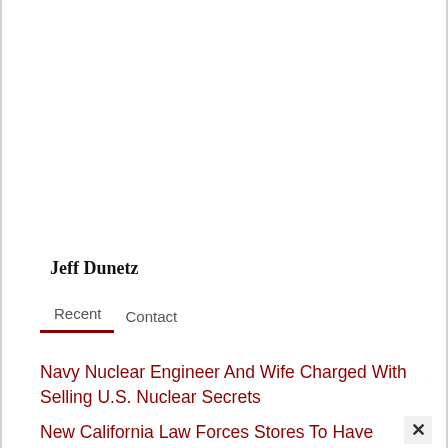Jeff Dunetz
Recent   Contact
Navy Nuclear Engineer And Wife Charged With Selling U.S. Nuclear Secrets
New California Law Forces Stores To Have Gender Neutral Toy Departments